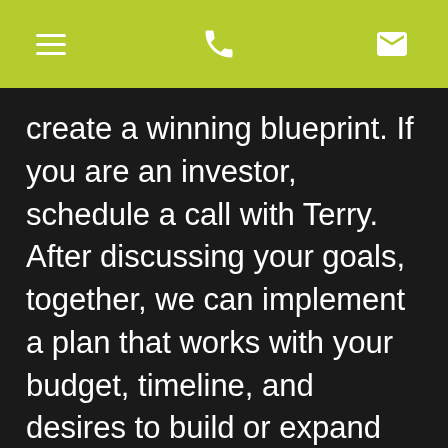[navigation bar with menu, phone, and email icons]
create a winning blueprint. If you are an investor, schedule a call with Terry. After discussing your goals, together, we can implement a plan that works with your budget, timeline, and desires to build or expand your real estate investment portfolio.
QUICK SEARCH
HOUSE ONLY